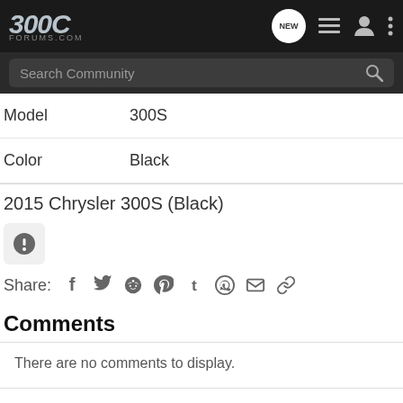300C FORUMS.COM
Search Community
Model	300S
Color	Black
2015 Chrysler 300S (Black)
Share:
Comments
There are no comments to display.